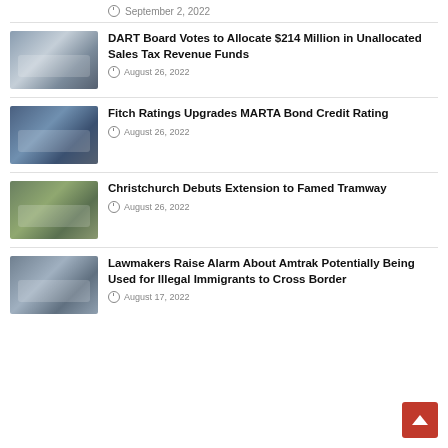September 2, 2022
DART Board Votes to Allocate $214 Million in Unallocated Sales Tax Revenue Funds — August 26, 2022
Fitch Ratings Upgrades MARTA Bond Credit Rating — August 26, 2022
Christchurch Debuts Extension to Famed Tramway — August 26, 2022
Lawmakers Raise Alarm About Amtrak Potentially Being Used for Illegal Immigrants to Cross Border — August 17, 2022